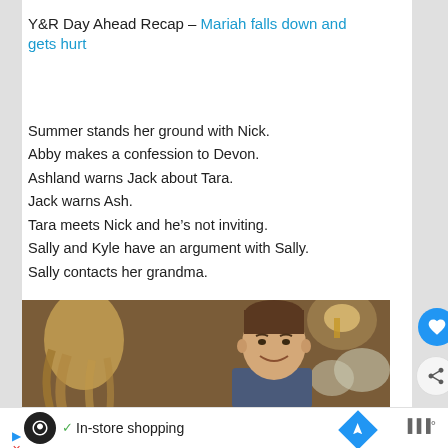Y&R Day Ahead Recap – Mariah falls down and gets hurt
Summer stands her ground with Nick.
Abby makes a confession to Devon.
Ashland warns Jack about Tara.
Jack warns Ash.
Tara meets Nick and he's not inviting.
Sally and Kyle have an argument with Sally.
Sally contacts her grandma.
[Figure (photo): Screenshot from Y&R TV show: a young man with short hair smiling, and a woman with blonde hair facing away, in an indoor setting with warm lighting and flowers in background]
In-store shopping